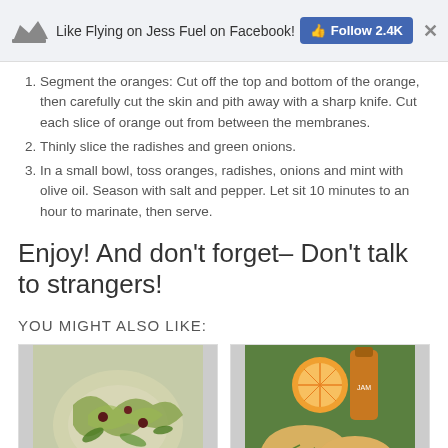Like Flying on Jess Fuel on Facebook! Follow 2.4K
Segment the oranges: Cut off the top and bottom of the orange, then carefully cut the skin and pith away with a sharp knife. Cut each slice of orange out from between the membranes.
Thinly slice the radishes and green onions.
In a small bowl, toss oranges, radishes, onions and mint with olive oil. Season with salt and pepper. Let sit 10 minutes to an hour to marinate, then serve.
Enjoy! And don't forget– Don't talk to strangers!
YOU MIGHT ALSO LIKE:
[Figure (photo): Photo of a salad dish with greens and dark berries on a white plate]
[Figure (photo): Photo of biscuits/scones with orange slices and a bottle in the background]